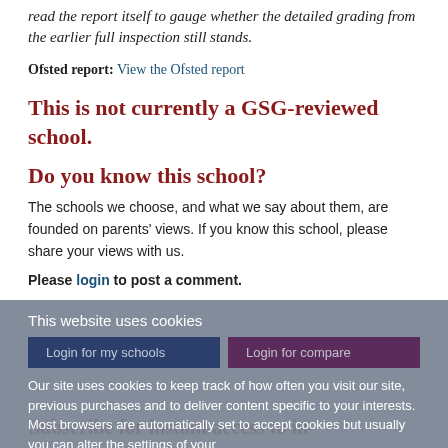read the report itself to gauge whether the detailed grading from the earlier full inspection still stands.
Ofsted report: View the Ofsted report
This is not currently a GSG-reviewed school.
Do you know this school?
The schools we choose, and what we say about them, are founded on parents' views. If you know this school, please share your views with us.
Please login to post a comment.
This website uses cookies
Our site uses cookies to keep track of how often you visit our site, previous purchases and to deliver content specific to your interests. Most browsers are automatically set to accept cookies but usually you can alter the settings of your browser to prevent acceptance. If you
Subscribe for instant access to in-